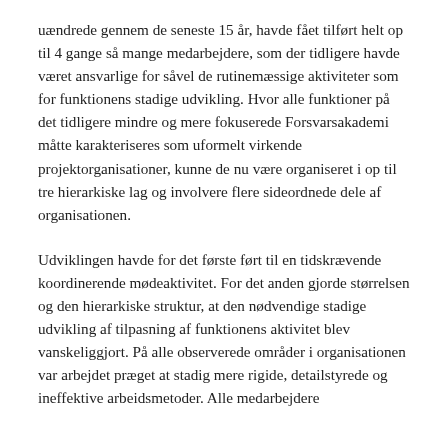uændrede gennem de seneste 15 år, havde fået tilført helt op til 4 gange så mange medarbejdere, som der tidligere havde været ansvarlige for såvel de rutinemæssige aktiviteter som for funktionens stadige udvikling. Hvor alle funktioner på det tidligere mindre og mere fokuserede Forsvarsakademi måtte karakteriseres som uformelt virkende projektorganisationer, kunne de nu være organiseret i op til tre hierarkiske lag og involvere flere sideordnede dele af organisationen.
Udviklingen havde for det første ført til en tidskrævende koordinerende mødeaktivitet. For det anden gjorde størrelsen og den hierarkiske struktur, at den nødvendige stadige udvikling af tilpasning af funktionens aktivitet blev vanskeliggjort. På alle observerede områder i organisationen var arbejdet præget at stadig mere rigide, detailstyrede og ineffektive arbeidsmetoder. Alle medarbejdere